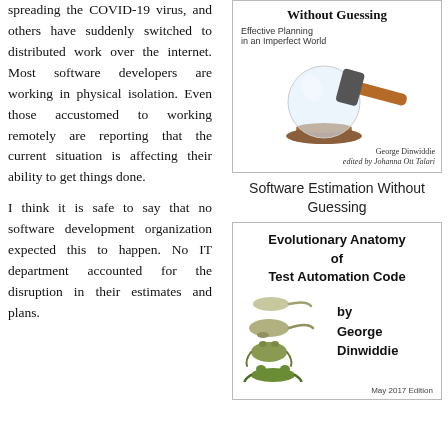spreading the COVID-19 virus, and others have suddenly switched to distributed work over the internet. Most software developers are working in physical isolation. Even those accustomed to working remotely are reporting that the current situation is affecting their ability to get things done.
I think it is safe to say that no software development organization expected this to happen. No IT department accounted for the disruption in their estimates and plans.
[Figure (illustration): Book cover for 'Software Estimation Without Guessing: Effective Planning in an Imperfect World' by George Dinwiddie, edited by Johanna Ott Talari. Shows a crystal ball with a hammer resting against it.]
Software Estimation Without Guessing
[Figure (illustration): Book cover for 'Evolutionary Anatomy of Test Automation Code' by George Dinwiddie. May 2017 Edition. Shows illustrations of frog development stages from tadpole to frog.]